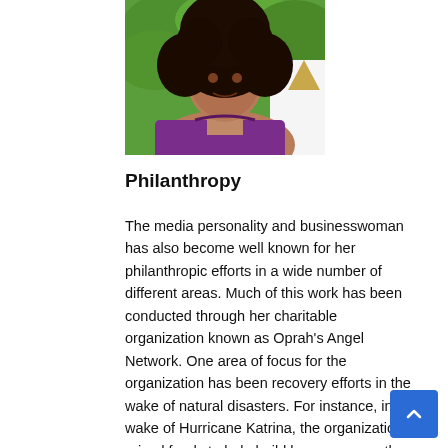[Figure (photo): A woman with curly dark hair wearing a purple top, photographed from the shoulders up against a green leafy background with a golden triangular award partially visible on the right.]
Philanthropy
The media personality and businesswoman has also become well known for her philanthropic efforts in a wide number of different areas. Much of this work has been conducted through her charitable organization known as Oprah's Angel Network. One area of focus for the organization has been recovery efforts in the wake of natural disasters. For instance, in the wake of Hurricane Katrina, the organization raised funds to help build homes across the areas affected.